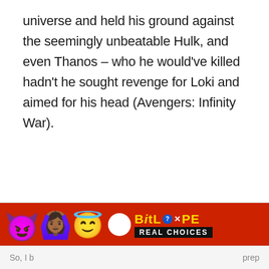universe and held his ground against the seemingly unbeatable Hulk, and even Thanos – who he would've killed hadn't he sought revenge for Loki and aimed for his head (Avengers: Infinity War).
[Figure (screenshot): Advertisement banner for BitLife app showing devil emoji, person with raised hands emoji, angel face emoji, a white circle icon, yellow 'BITLIFE' text with blue question mark badge and X close button, and black 'REAL CHOICES' label, all on red background]
So, I b     prep